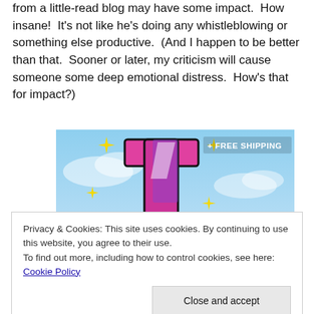from a little-read blog may have some impact.  How insane!  It's not like he's doing any whistleblowing or something else productive.  (And I happen to be better than that.  Sooner or later, my criticism will cause someone some deep emotional distress.  How's that for impact?)
[Figure (other): Advertisement banner with stylized letter 't' logo in pink/purple on a light blue sky background, with yellow sparkle stars and '+ FREE SHIPPING' text in the upper right corner.]
Privacy & Cookies: This site uses cookies. By continuing to use this website, you agree to their use.
To find out more, including how to control cookies, see here: Cookie Policy
Close and accept